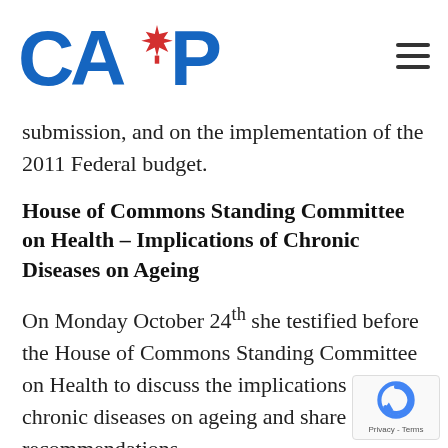CARP
submission, and on the implementation of the 2011 Federal budget.
House of Commons Standing Committee on Health – Implications of Chronic Diseases on Ageing
On Monday October 24th she testified before the House of Commons Standing Committee on Health to discuss the implications of chronic diseases on ageing and share CARP's recommendations.